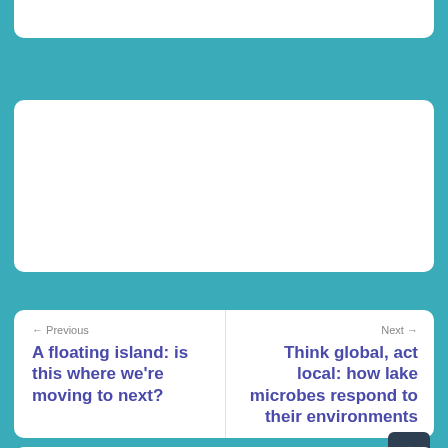← Previous
A floating island: is this where we're moving to next?
Next →
Think global, act local: how lake microbes respond to their environments